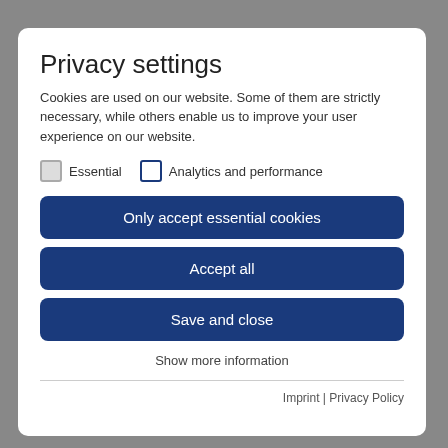Privacy settings
Cookies are used on our website. Some of them are strictly necessary, while others enable us to improve your user experience on our website.
Essential
Analytics and performance
Only accept essential cookies
Accept all
Save and close
Show more information
Imprint | Privacy Policy